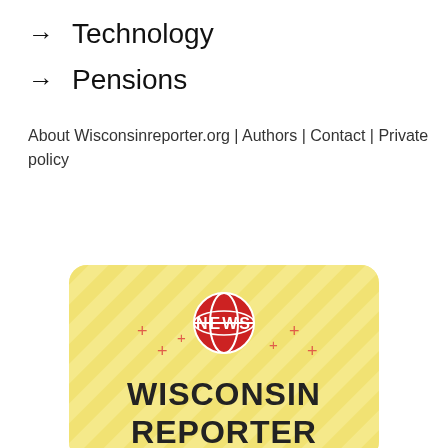→ Technology
→ Pensions
About Wisconsinreporter.org | Authors | Contact | Private policy
[Figure (logo): Wisconsin Reporter news logo with globe icon, 'NEWS' text, decorative plus signs, diagonal stripe background in yellow, and bold text 'WISCONSIN REPORTER']